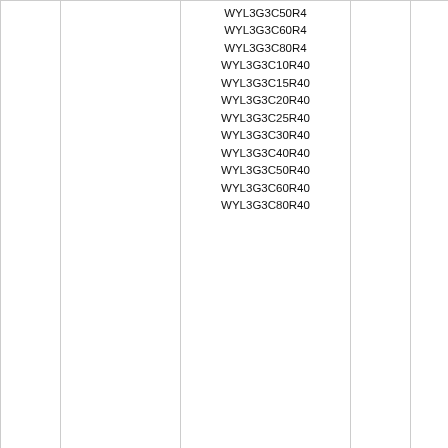|  |  | Code |  |  |
| --- | --- | --- | --- | --- |
|  |  | WYL3G3C50R4 |  |  |
|  |  | WYL3G3C60R4 |  |  |
|  |  | WYL3G3C80R4 |  |  |
|  |  | WYL3G3C10R40 |  |  |
|  |  | WYL3G3C15R40 |  |  |
|  |  | WYL3G3C20R40 |  |  |
|  |  | WYL3G3C25R40 |  |  |
|  |  | WYL3G3C30R40 |  |  |
|  |  | WYL3G3C40R40 |  |  |
|  |  | WYL3G3C50R40 |  |  |
|  |  | WYL3G3C60R40 |  |  |
|  |  | WYL3G3C80R40 |  |  |
|  |  | WYL3H3C10Z4 |  |  |
|  |  | WYL3H3C15Z4 |  |  |
|  |  | WYL3H3C20Z4 |  |  |
|  |  | WYL3H3C25Z4 |  |  |
|  |  | WYL3H3C30Z4 |  |  |
|  |  | WYL3H3C40Z4 |  |  |
|  |  | WYL3H3C50Z4 |  |  |
|  |  | WYL3H3C60Z4 |  |  |
|  |  | WYL3H3C80Z4 |  |  |
|  |  | WYL3H3C10Z40 |  |  |
|  |  | WYL3H3C15Z40 |  |  |